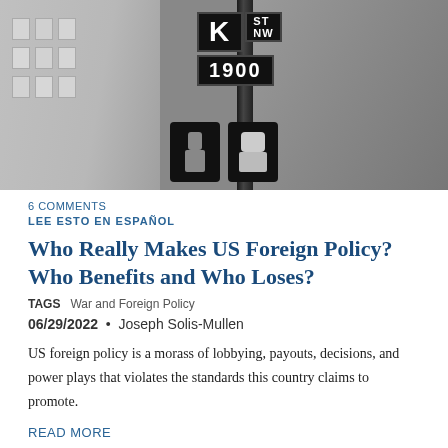[Figure (photo): Black and white photograph of Washington DC street signs including K Street NW 1900 block signs on a pole with walk/don't walk pedestrian signals visible]
6 COMMENTS
LEE ESTO EN ESPAÑOL
Who Really Makes US Foreign Policy? Who Benefits and Who Loses?
TAGS   War and Foreign Policy
06/29/2022  •  Joseph Solis-Mullen
US foreign policy is a morass of lobbying, payouts, decisions, and power plays that violates the standards this country claims to promote.
READ MORE